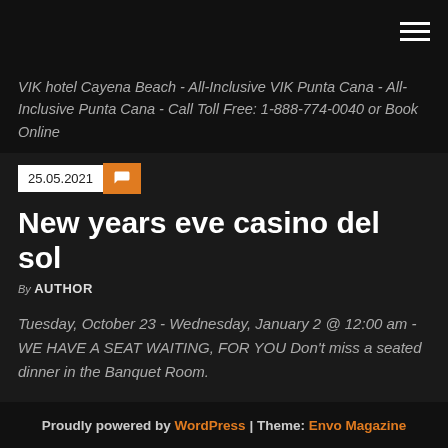VIK hotel Cayena Beach - All-Inclusive VIK Punta Cana - All-Inclusive Punta Cana - Call Toll Free: 1-888-774-0040 or Book Online
25.05.2021
New years eve casino del sol
By AUTHOR
Tuesday, October 23 - Wednesday, January 2 @ 12:00 am - WE HAVE A SEAT WAITING, FOR YOU Don't miss a seated dinner in the Banquet Room.
Proudly powered by WordPress | Theme: Envo Magazine